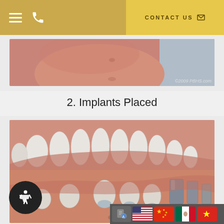CONTACT US
[Figure (illustration): Partial dental illustration showing teeth and gum tissue from a prior step, with ©2009 PBHS.com watermark]
2. Implants Placed
[Figure (illustration): 3D dental illustration showing implants placed in the lower jaw with upper and lower teeth visible and metal implant components showing at back, with ©200_ PBHS.com watermark]
[Figure (other): Language selector bar with flags: a document icon, US flag, Chinese flag, Mexican flag, Vietnamese flag]